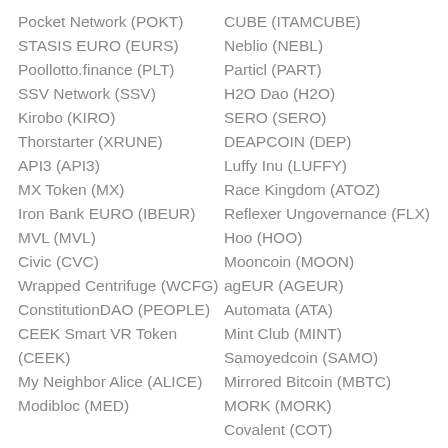Pocket Network (POKT)
STASIS EURO (EURS)
Poollotto.finance (PLT)
SSV Network (SSV)
Kirobo (KIRO)
Thorstarter (XRUNE)
API3 (API3)
MX Token (MX)
Iron Bank EURO (IBEUR)
MVL (MVL)
Civic (CVC)
Wrapped Centrifuge (WCFG)
ConstitutionDAO (PEOPLE)
CEEK Smart VR Token (CEEK)
My Neighbor Alice (ALICE)
Modibloc (MED)
CUBE (ITAMCUBE)
Neblio (NEBL)
Particl (PART)
H2O Dao (H2O)
SERO (SERO)
DEAPCOIN (DEP)
Luffy Inu (LUFFY)
Race Kingdom (ATOZ)
Reflexer Ungovernance (FLX)
Hoo (HOO)
Mooncoin (MOON)
agEUR (AGEUR)
Automata (ATA)
Mint Club (MINT)
Samoyedcoin (SAMO)
Mirrored Bitcoin (MBTC)
MORK (MORK)
Covalent (COT)